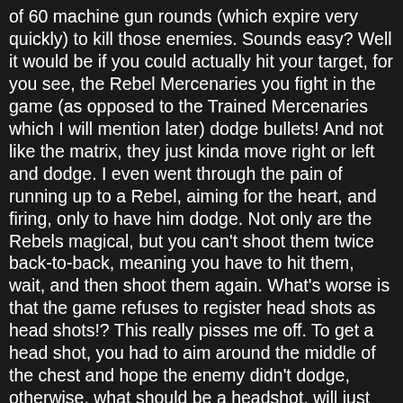of 60 machine gun rounds (which expire very quickly) to kill those enemies. Sounds easy? Well it would be if you could actually hit your target, for you see, the Rebel Mercenaries you fight in the game (as opposed to the Trained Mercenaries which I will mention later) dodge bullets! And not like the matrix, they just kinda move right or left and dodge. I even went through the pain of running up to a Rebel, aiming for the heart, and firing, only to have him dodge. Not only are the Rebels magical, but you can't shoot them twice back-to-back, meaning you have to hit them, wait, and then shoot them again. What's worse is that the game refuses to register head shots as head shots!? This really pisses me off. To get a head shot, you had to aim around the middle of the chest and hope the enemy didn't dodge, otherwise, what should be a headshot, will just be a bullet that hits the target for minor damage or is dodged. Apart from shooting, the game involves hiding behind cover. Yes, it basically tries to copy Gears of War but fails. If you hide behind a pillar, you will die. If you hide behind a knocked down (horizontal) pillar, you face 50% death rate. Compile this with the horrible gun mechanics and you get a repetitive game whose shooting fails. Oh, and did I mention